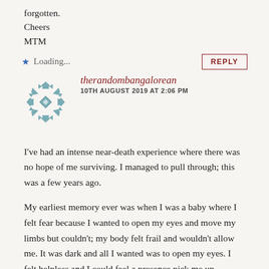forgotten.
Cheers
MTM
Loading...
therandombangalorean
10TH AUGUST 2019 AT 2:06 PM
I've had an intense near-death experience where there was no hope of me surviving. I managed to pull through; this was a few years ago.
My earliest memory ever was when I was a baby where I felt fear because I wanted to open my eyes and move my limbs but couldn't; my body felt frail and wouldn't allow me. It was dark and all I wanted was to open my eyes. I felt helpless and I could feel a presence pick me up. Therefore, I imagine I must have been a baby because this feeling and memory is still very vivid in